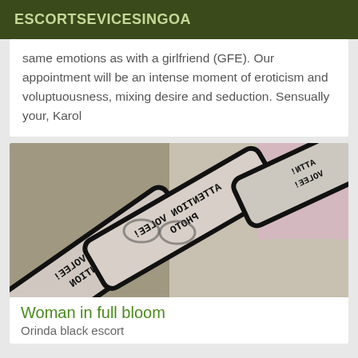ESCORTSEVICESINGOA
same emotions as with a girlfriend (GFE). Our appointment will be an intense moment of eroticism and voluptuousness, mixing desire and seduction. Sensually your, Karol
[Figure (photo): Photo showing mirrored/reflected signs reading 'ATTENTION PHOTO VOLEE!' overlapping, with a blurred person wearing glasses visible behind the signs.]
Woman in full bloom
Orinda black escort